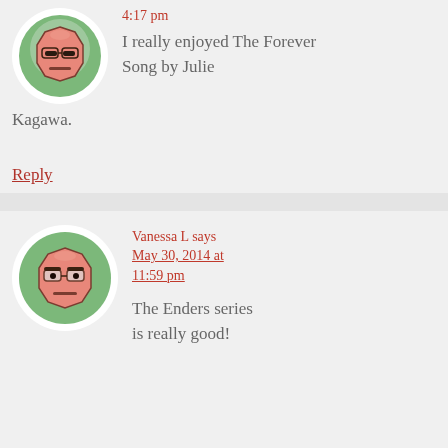[Figure (illustration): Cartoon avatar icon: pink/salmon octagonal face with dark eyes and neutral expression, on green circular background, inside white circle]
4:17 pm
I really enjoyed The Forever Song by Julie Kagawa.
Reply
[Figure (illustration): Cartoon avatar icon: pink/salmon octagonal face with dark eyes (with pupils) and neutral expression, on green circular background, inside white circle]
Vanessa L says
May 30, 2014 at 11:59 pm
The Enders series is really good!